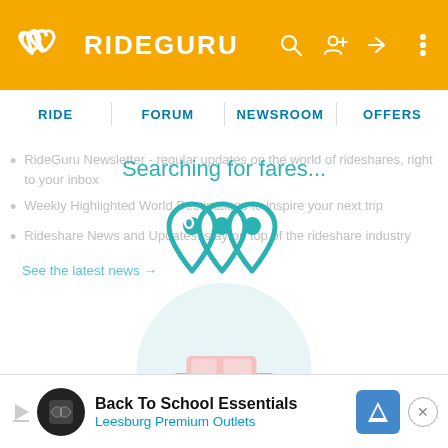RIDEGURU
RIDE | FORUM | NEWSROOM | OFFERS
RideGuru Newsletter - regular updates on the world of rideshares, right to your inbox
Weekly Highlighted World Destinations to inspire your next trip
Rideshare News and Updates: stay on top of the rideshare industry
See the latest news →
[Figure (illustration): Loading overlay with teal text 'Searching for fares...' and RideGuru triple map-pin logo icon above a light blue circle containing a stylized taxi/car icon]
[Figure (screenshot): Advertisement banner: Back To School Essentials - Leesburg Premium Outlets, with navigation arrow icon and close button]